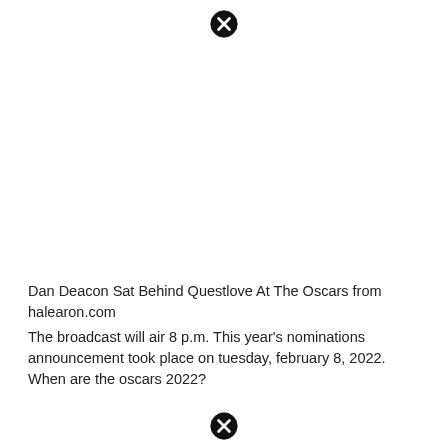[Figure (other): Close/cancel icon (circle with X) at top center]
Dan Deacon Sat Behind Questlove At The Oscars from halearon.com
The broadcast will air 8 p.m. This year's nominations announcement took place on tuesday, february 8, 2022. When are the oscars 2022?
[Figure (other): Close/cancel icon (circle with X) at bottom center]